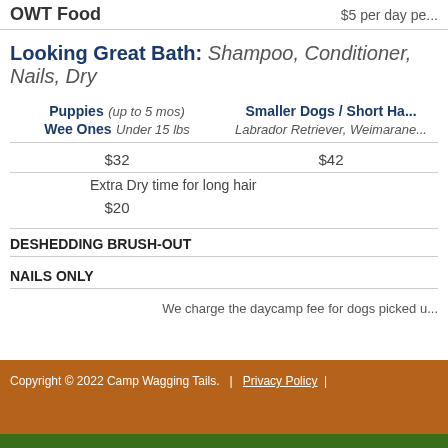OWT Food   $5 per day pe...
Looking Great Bath: Shampoo, Conditioner, Nails, Dry
| Puppies (up to 5 mos) / Wee Ones Under 15 lbs | Smaller Dogs / Short Ha... Labrador Retriever, Weimarane... |
| --- | --- |
| $32 | $42 |
| Extra Dry time for long hair |  |
| $20 |  |
DESHEDDING BRUSH-OUT
NAILS ONLY
We charge the daycamp fee for dogs picked u...
Copyright © 2022 Camp Wagging Tails.  |  Privacy Policy  |